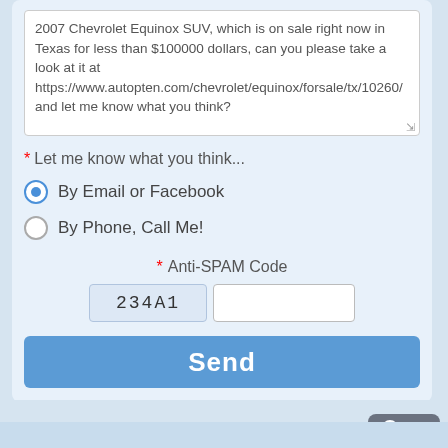2007 Chevrolet Equinox SUV, which is on sale right now in Texas for less than $100000 dollars, can you please take a look at it at https://www.autopten.com/chevrolet/equinox/forsale/tx/10260/ and let me know what you think?
* Let me know what you think...
By Email or Facebook
By Phone, Call Me!
* Anti-SPAM Code
234A1
Send